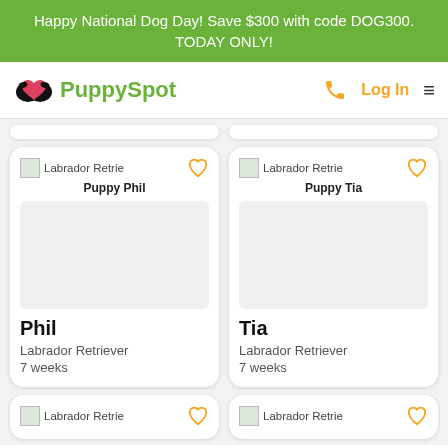Happy National Dog Day! Save $300 with code DOG300. TODAY ONLY!
[Figure (logo): PuppySpot logo with paw/heart icon and green text]
Labrador Retrie
Puppy Phil
Phil
Labrador Retriever
7 weeks
Labrador Retrie
Puppy Tia
Tia
Labrador Retriever
7 weeks
Labrador Retrie (partial card, bottom left)
Labrador Retrie (partial card, bottom right)